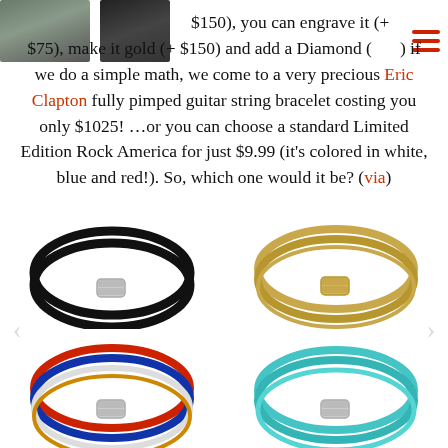[Figure (photo): Two partial photos of people at top left of page]
$150), you can engrave it (+ $75), make it gold (+ $150) and add a Diamond (…). If we do a simple math, we come to a very precious Eric Clapton fully pimped guitar string bracelet costing you only $1025! …or you can choose a standard Limited Edition Rock America for just $9.99 (it's colored in white, blue and red!). So, which one would it be? (via)
[Figure (photo): Grid of four guitar string bracelets: black, gold, red/white/blue, and teal/cyan colored bracelets]